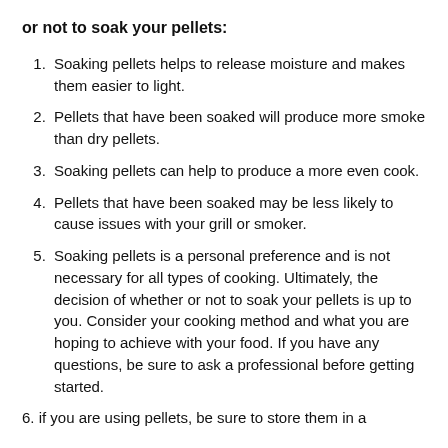or not to soak your pellets:
Soaking pellets helps to release moisture and makes them easier to light.
Pellets that have been soaked will produce more smoke than dry pellets.
Soaking pellets can help to produce a more even cook.
Pellets that have been soaked may be less likely to cause issues with your grill or smoker.
Soaking pellets is a personal preference and is not necessary for all types of cooking. Ultimately, the decision of whether or not to soak your pellets is up to you. Consider your cooking method and what you are hoping to achieve with your food. If you have any questions, be sure to ask a professional before getting started.
6. if you are using pellets, be sure to store them in a